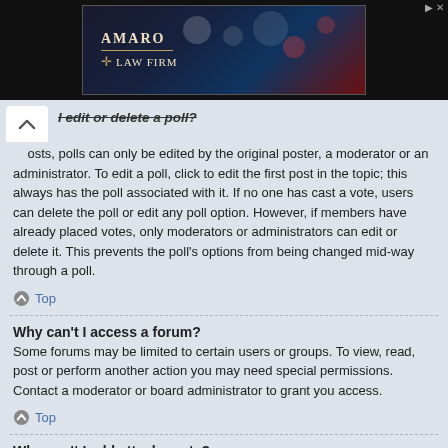[Figure (photo): Advertisement banner for Amaro Law Firm with dark bokeh background]
I edit or delete a poll?
posts, polls can only be edited by the original poster, a moderator or an administrator. To edit a poll, click to edit the first post in the topic; this always has the poll associated with it. If no one has cast a vote, users can delete the poll or edit any poll option. However, if members have already placed votes, only moderators or administrators can edit or delete it. This prevents the poll's options from being changed mid-way through a poll.
Top
Why can't I access a forum?
Some forums may be limited to certain users or groups. To view, read, post or perform another action you may need special permissions. Contact a moderator or board administrator to grant you access.
Top
Why can't I add attachments?
Attachment permissions are granted on a per forum, per group, or per user basis. The board administrator may not have allowed attachments to be added for the specific forum you are posting in, or perhaps only certain groups can post attachments.